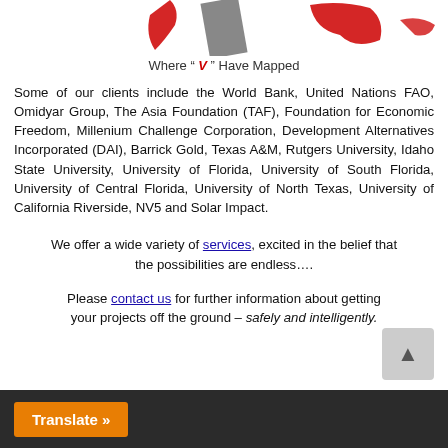[Figure (illustration): Partial view of maps/illustrations showing red and gray shapes on white backgrounds, a company logo or banner with 'V' symbol.]
Where " V " Have Mapped
Some of our clients include the World Bank, United Nations FAO, Omidyar Group, The Asia Foundation (TAF), Foundation for Economic Freedom, Millenium Challenge Corporation, Development Alternatives Incorporated (DAI), Barrick Gold, Texas A&M, Rutgers University, Idaho State University, University of Florida, University of South Florida, University of Central Florida, University of North Texas, University of California Riverside, NV5 and Solar Impact.
We offer a wide variety of services, excited in the belief that the possibilities are endless….
Please contact us for further information about getting your projects off the ground – safely and intelligently.
Translate »